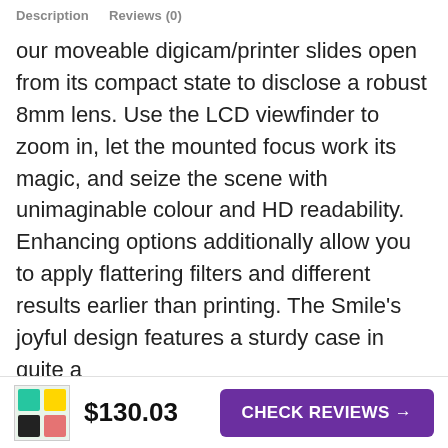Description   Reviews (0)
our moveable digicam/printer slides open from its compact state to disclose a robust 8mm lens. Use the LCD viewfinder to zoom in, let the mounted focus work its magic, and seize the scene with unimaginable colour and HD readability. Enhancing options additionally allow you to apply flattering filters and different results earlier than printing. The Smile's joyful design features a sturdy case in quite a
We use cookies on our website to give you the most relevant experience by remembering your preferences and repeat visits. By clicking “Accept”, you consent to the use of ALL the cookies.
Do not sell my personal information.
$130.03
CHECK REVIEWS →